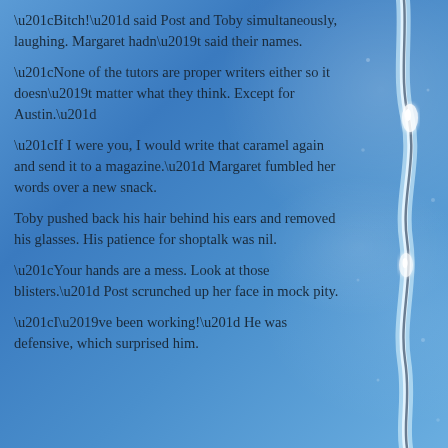“Bitch!” said Post and Toby simultaneously, laughing. Margaret hadn’t said their names.
“None of the tutors are proper writers either so it doesn’t matter what they think. Except for Austin.”
“If I were you, I would write that caramel again and send it to a magazine.” Margaret fumbled her words over a new snack.
Toby pushed back his hair behind his ears and removed his glasses. His patience for shoptalk was nil.
“Your hands are a mess. Look at those blisters.” Post scrunched up her face in mock pity.
“I’ve been working!” He was defensive, which surprised him.
[Figure (illustration): A shimmering water or icicle-like translucent ribbon with bright glints, running vertically along the right side of the image against a blue background.]